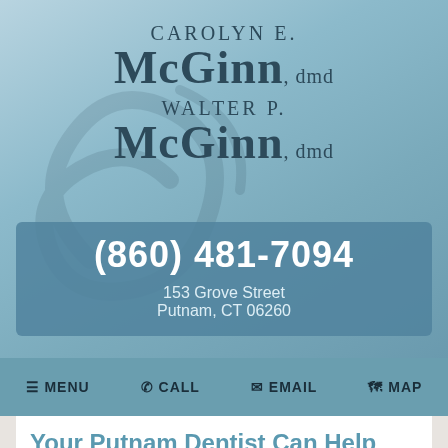[Figure (logo): Dental practice header with names Carolyn E. McGinn DMD and Walter P. McGinn DMD on a blue gradient background with decorative swirl]
(860) 481-7094
153 Grove Street
Putnam, CT 06260
≡ MENU  ✆ CALL  ✉ EMAIL  ⊕ MAP
Your Putnam Dentist Can Help You Quit Smoking!
August 14, 2017
You started